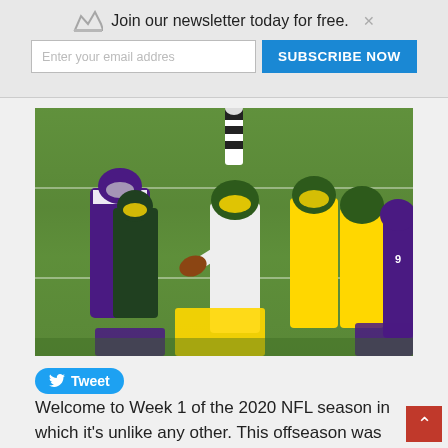Join our newsletter today for free. | Enter your email addres | SUBSCRIBE NOW
[Figure (photo): NFL football game action photo showing Green Bay Packers quarterback in white jersey dropping back to pass, surrounded by teammates in yellow-green helmets and opponents in purple Minnesota Vikings uniforms, on an indoor stadium field.]
Tweet
Welcome to Week 1 of the 2020 NFL season in which it's unlike any other. This offseason was